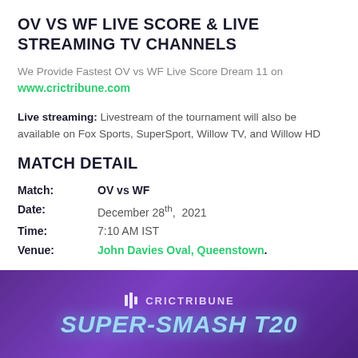OV VS WF LIVE SCORE & LIVE STREAMING TV CHANNELS
We Provide Fastest OV vs WF Live Score Dream 11 on www.crictribune.com
Live streaming: Livestream of the tournament will also be available on Fox Sports, SuperSport, Willow TV, and Willow HD
MATCH DETAIL
| Field | Value |
| --- | --- |
| Match: | OV vs WF |
| Date: | December 28th, 2021 |
| Time: | 7:10 AM IST |
| Venue: | John Davies Oval, Queenstown. |
[Figure (logo): CricTribune Super-Smash T20 promotional banner with purple gradient background, CricTribune logo at top and 'SUPER-SMASH T20' text in blue glowing letters]